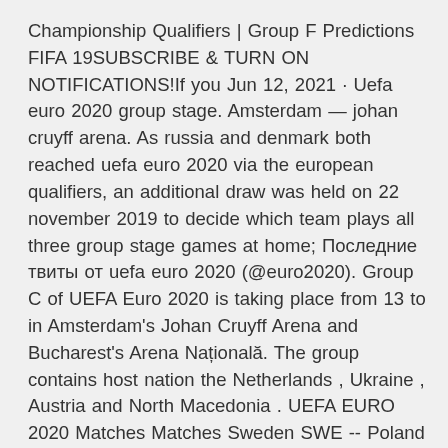Championship Qualifiers | Group F Predictions FIFA 19SUBSCRIBE & TURN ON NOTIFICATIONS!If you Jun 12, 2021 · Uefa euro 2020 group stage. Amsterdam — johan cruyff arena. As russia and denmark both reached uefa euro 2020 via the european qualifiers, an additional draw was held on 22 november 2019 to decide which team plays all three group stage games at home; Последние твиты от uefa euro 2020 (@euro2020). Group C of UEFA Euro 2020 is taking place from 13 to in Amsterdam's Johan Cruyff Arena and Bucharest's Arena Națională. The group contains host nation the Netherlands , Ukraine , Austria and North Macedonia . UEFA EURO 2020 Matches Matches Sweden SWE -- Poland POL See more.